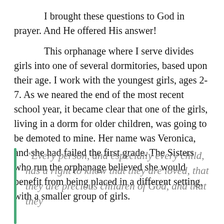I brought these questions to God in prayer. And He offered His answer!
This orphanage where I serve divides girls into one of several dormitories, based upon their age. I work with the youngest girls, ages 2-7. As we neared the end of the most recent school year, it became clear that one of the girls, living in a dorm for older children, was going to be demoted to mine. Her name was Veronica, and she had failed the first grade. The Sisters who run the orphanage believed she would benefit from being placed in a different setting, with a smaller group of girls.
“Every person, and especially every child, has a right to know that they are loved, that they are precious children of God, and that they…